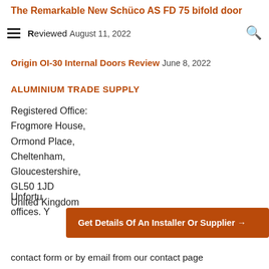The Remarkable New Schüco AS FD 75 bifold door
Reviewed August 11, 2022
Origin OI-30 Internal Doors Review June 8, 2022
ALUMINIUM TRADE SUPPLY
Registered Office:
Frogmore House,
Ormond Place,
Cheltenham,
Gloucestershire,
GL50 1JD
United Kingdom
Unfortun... offices. Y...
Get Details Of An Installer Or Supplier →
contact form or by email from our contact page